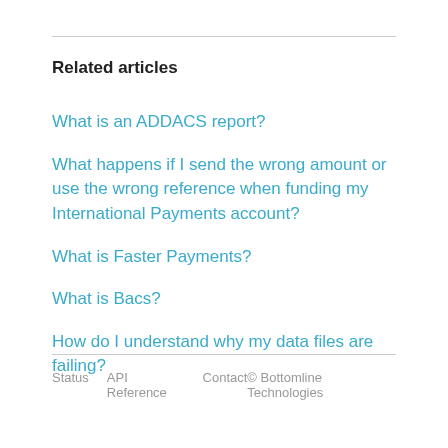Related articles
What is an ADDACS report?
What happens if I send the wrong amount or use the wrong reference when funding my International Payments account?
What is Faster Payments?
What is Bacs?
How do I understand why my data files are failing?
Status   API Reference   Contact   © Bottomline Technologies